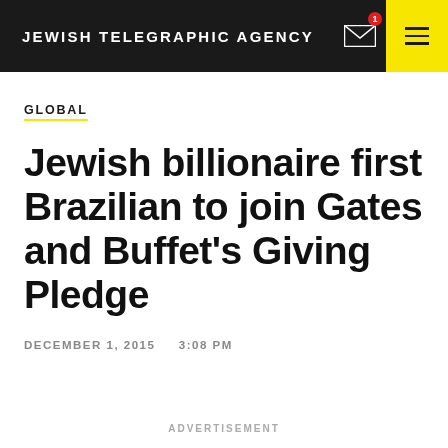JEWISH TELEGRAPHIC AGENCY
GLOBAL
Jewish billionaire first Brazilian to join Gates and Buffet's Giving Pledge
DECEMBER 1, 2015    3:08 PM
ADVERTISEMENT